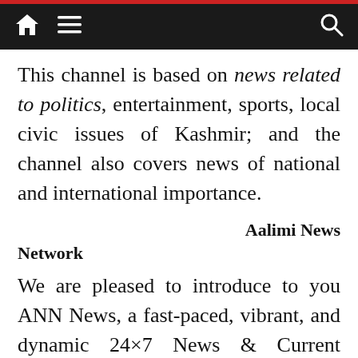navigation bar with home, menu, and search icons
This channel is based on news related to politics, entertainment, sports, local civic issues of Kashmir; and the channel also covers news of national and international importance.
Aalimi News Network
We are pleased to introduce to you ANN News, a fast-paced, vibrant, and dynamic 24×7 News & Current Affairs TV channel. The Channel telecasts news in Urdu, Kashmiri and Hindi.